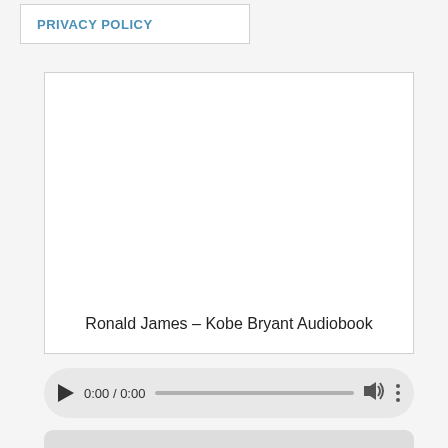PRIVACY POLICY
[Figure (other): Embedded media card with white background and text 'Ronald James – Kobe Bryant Audiobook' at the bottom center]
Ronald James – Kobe Bryant Audiobook
[Figure (other): Audio player control bar with play button, time display '0:00 / 0:00', progress bar, volume icon, and more options icon]